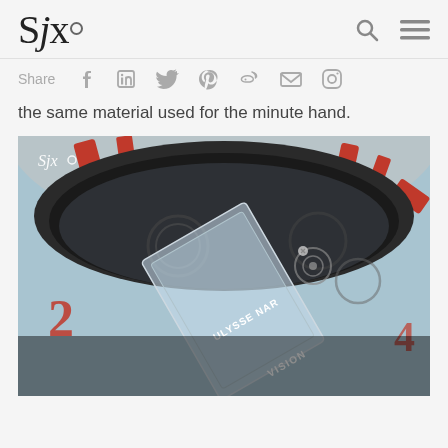SJx° [logo with search and menu icons]
Share [social media icons: Facebook, LinkedIn, Twitter, Pinterest, Weibo, Email, Instagram]
the same material used for the minute hand.
[Figure (photo): Close-up macro photograph of a luxury watch dial with SJx watermark, showing a red and grey bezel with details of the Ulysse Nardin watch movement/dial, including text 'ULYSSE NAR' and 'VISION' visible on the watch crystal/sapphire display back]